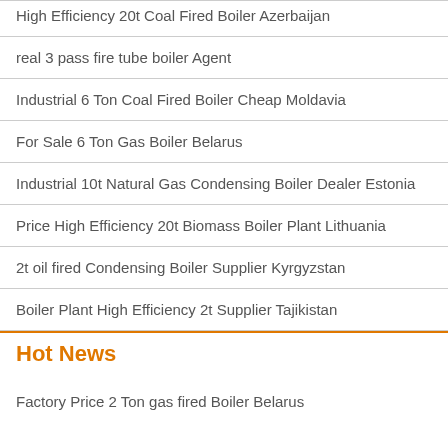High Efficiency 20t Coal Fired Boiler Azerbaijan
real 3 pass fire tube boiler Agent
Industrial 6 Ton Coal Fired Boiler Cheap Moldavia
For Sale 6 Ton Gas Boiler Belarus
Industrial 10t Natural Gas Condensing Boiler Dealer Estonia
Price High Efficiency 20t Biomass Boiler Plant Lithuania
2t oil fired Condensing Boiler Supplier Kyrgyzstan
Boiler Plant High Efficiency 2t Supplier Tajikistan
Hot News
Factory Price 2 Ton gas fired Boiler Belarus